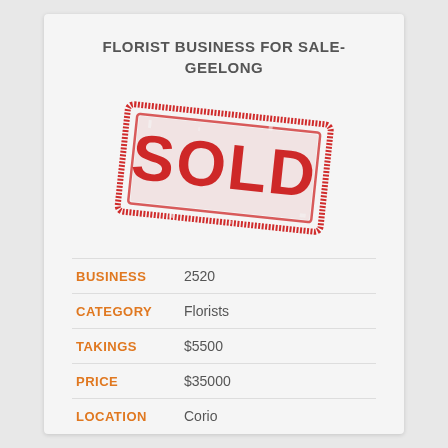FLORIST BUSINESS FOR SALE- GEELONG
[Figure (other): A distressed red rubber stamp reading SOLD in bold capital letters, inside a rectangular border, rotated slightly clockwise]
| BUSINESS | 2520 |
| CATEGORY | Florists |
| TAKINGS | $5500 |
| PRICE | $35000 |
| LOCATION | Corio |
READ MORE ❯